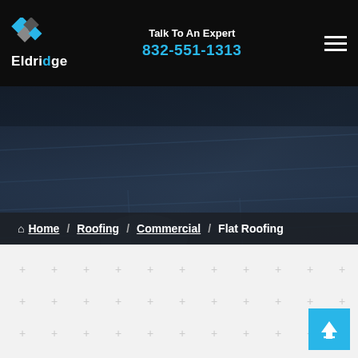Talk To An Expert 832-551-1313
[Figure (logo): Eldridge roofing logo with geometric diamond icon and white/blue text]
[Figure (photo): Close-up photo of a flat commercial roof surface with dark blue/grey waterproofing membrane]
Home / Roofing / Commercial / Flat Roofing
[Figure (other): Light grey dotted plus-sign pattern background section]